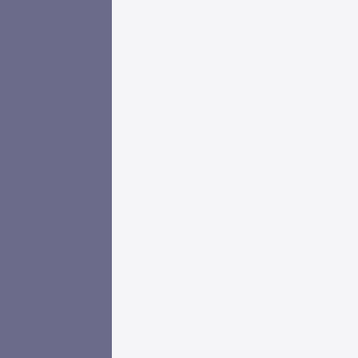suspected, the ntfs modules are missing from /live/boot.img. Deliberate policy or accidental omission? I hope the latter. I used to be able to boot debian/devuan/ubuntu and many others from ntfs partitions like this. When placing the iso to an ext4 partition,